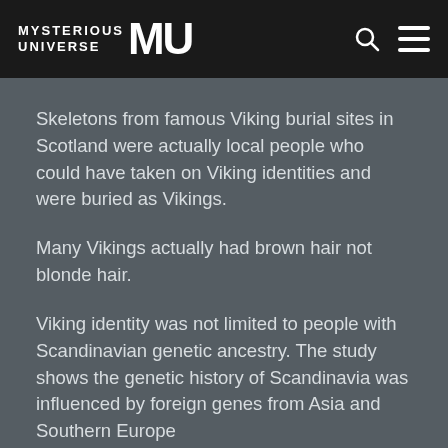MYSTERIOUS UNIVERSE MU
Skeletons from famous Viking burial sites in Scotland were actually local people who could have taken on Viking identities and were buried as Vikings.
Many Vikings actually had brown hair not blonde hair.
Viking identity was not limited to people with Scandinavian genetic ancestry. The study shows the genetic history of Scandinavia was influenced by foreign genes from Asia and Southern Europe